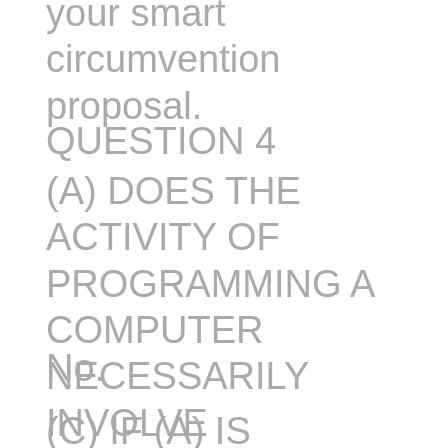your smart circumvention proposal.
QUESTION 4
(A) DOES THE ACTIVITY OF PROGRAMMING A COMPUTER NECESSARILY INVOLVE TECHNICAL CONSIDERATIONS?
No.
(C) IF (A) IS ANSWERED IN THE NEGATIVE, CAN